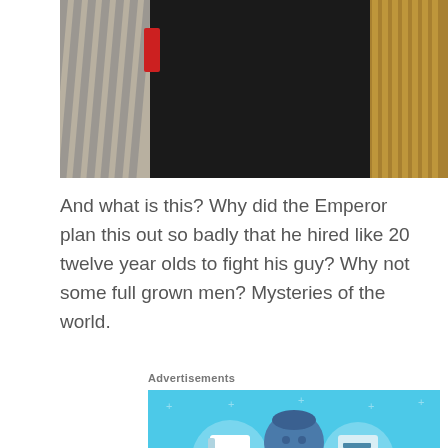[Figure (photo): Partial photo showing a person with striped sleeves and dark background with golden/mechanical elements on the right side]
And what is this? Why did the Emperor plan this out so badly that he hired like 20 twelve year olds to fight his guy? Why not some full grown men? Mysteries of the world.
Advertisements
[Figure (illustration): Day One app advertisement on a light blue background featuring a person with a notebook and list icons, the text 'DAY ONE - The only journaling app you'll ever need.' and a 'Get the app' button]